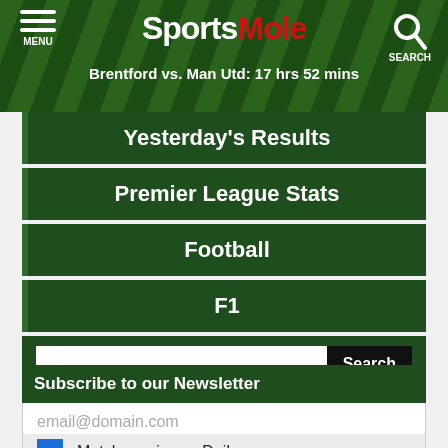SportsMole — Brentford vs. Man Utd: 17 hrs 52 mins
Yesterday's Results
Premier League Stats
Football
F1
Search
Subscribe to our Newsletter
email@domain.com
Match previews - Daily
Transfer Talk Daily
Morning Briefing (7am UTC)
Click to subscribe!